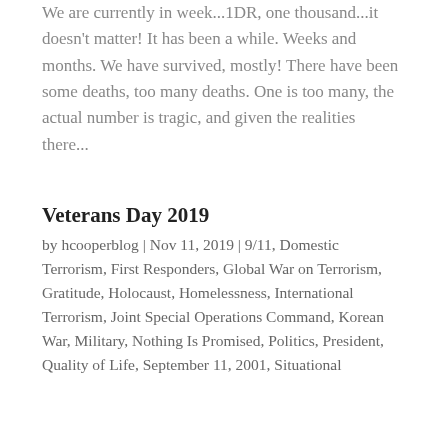We are currently in week...1DR, one thousand...it doesn't matter! It has been a while. Weeks and months. We have survived, mostly! There have been some deaths, too many deaths. One is too many, the actual number is tragic, and given the realities there...
Veterans Day 2019
by hcooperblog | Nov 11, 2019 | 9/11, Domestic Terrorism, First Responders, Global War on Terrorism, Gratitude, Holocaust, Homelessness, International Terrorism, Joint Special Operations Command, Korean War, Military, Nothing Is Promised, Politics, President, Quality of Life, September 11, 2001, Situational